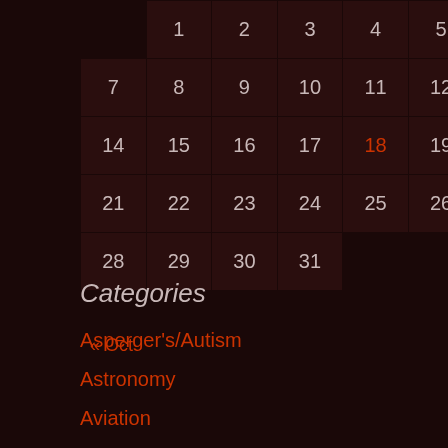|  | 1 | 2 | 3 | 4 | 5 | 6 |
| --- | --- | --- | --- | --- | --- | --- |
| 7 | 8 | 9 | 10 | 11 | 12 | 13 |
| 14 | 15 | 16 | 17 | 18 | 19 | 20 |
| 21 | 22 | 23 | 24 | 25 | 26 | 27 |
| 28 | 29 | 30 | 31 |  |  |  |
« Oct    Jan »
Categories
Asperger's/Autism
Astronomy
Aviation
History
Humour